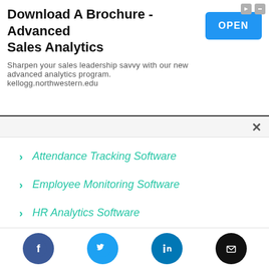[Figure (other): Advertisement banner for 'Download A Brochure - Advanced Sales Analytics' with an OPEN button and small icons in corner]
Attendance Tracking Software
Employee Monitoring Software
HR Analytics Software
Reference Check
Whistleblowing Software
Subscription Management Software (partial)
Facebook, Twitter, LinkedIn, Email social icons